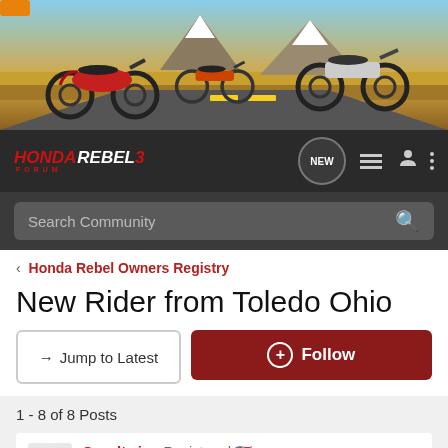[Figure (photo): Banner image with motorcycles on a desert highway with mountains in background]
HONDA REBEL 3 FORUM | NEW | navigation icons
Search Community
< Honda Rebel Owners Registry
New Rider from Toledo Ohio
→ Jump to Latest
+ Follow
1 - 8 of 8 Posts
Goodtwin · Registered 🇺🇸
Joined Aug 25, 2017 · 22 Posts